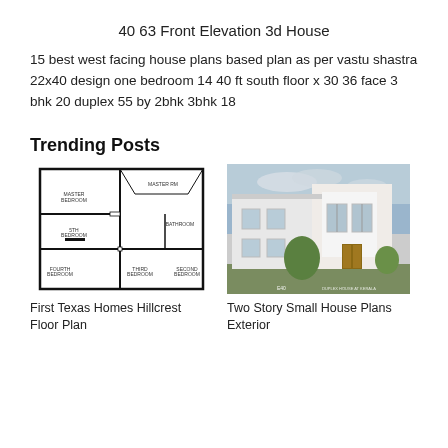40 63 Front Elevation 3d House
15 best west facing house plans based plan as per vastu shastra 22x40 design one bedroom 14 40 ft south floor x 30 36 face 3 bhk 20 duplex 55 by 2bhk 3bhk 18
Trending Posts
[Figure (engineering-diagram): Floor plan blueprint showing multiple bedrooms including master bedroom, second bedroom, third bedroom, fourth bedroom, bathroom and other rooms with walls and doors marked.]
[Figure (photo): Two-story modern house exterior with white walls, flat roof, large windows, balcony, and landscaping.]
First Texas Homes Hillcrest Floor Plan
Two Story Small House Plans Exterior